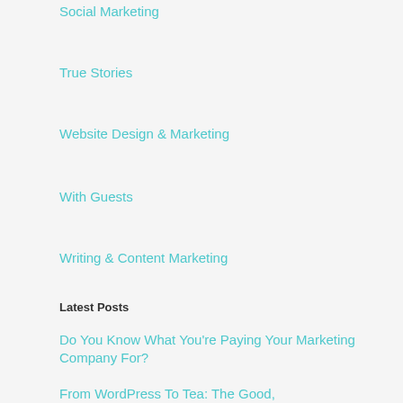Social Marketing
True Stories
Website Design & Marketing
With Guests
Writing & Content Marketing
Latest Posts
Do You Know What You're Paying Your Marketing Company For?
From WordPress To Tea: The Good,